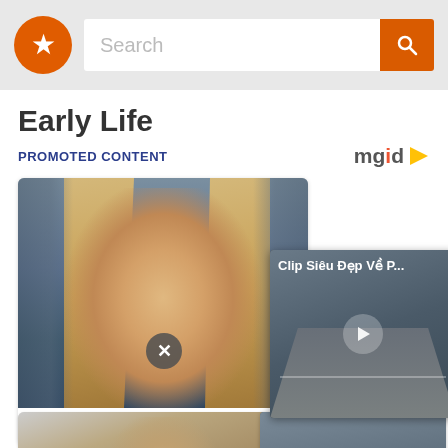Search
Early Life
PROMOTED CONTENT
[Figure (screenshot): MGID logo with orange play arrow]
[Figure (photo): Top 10 Female Crush On In Th... — promotional image of a blonde woman with card overlay showing video: Clip Siêu Đẹp Về P... with play button]
[Figure (photo): Second promotional card showing partial face of a person]